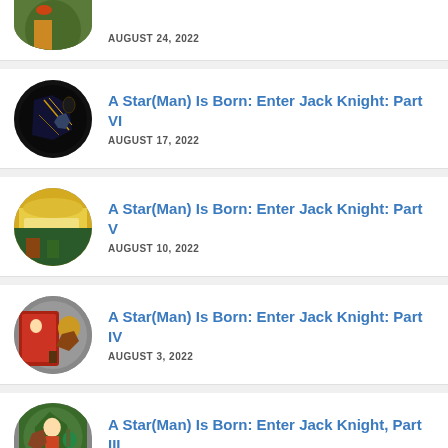AUGUST 24, 2022
A Star(Man) Is Born: Enter Jack Knight: Part VI
AUGUST 17, 2022
A Star(Man) Is Born: Enter Jack Knight: Part V
AUGUST 10, 2022
A Star(Man) Is Born: Enter Jack Knight: Part IV
AUGUST 3, 2022
A Star(Man) Is Born: Enter Jack Knight, Part III